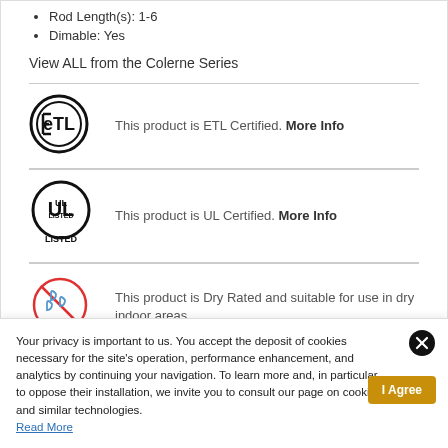Rod Length(s): 1-6
Dimable: Yes
View ALL from the Colerne Series
[Figure (logo): ETL certification circular logo with stylized E and T letters]
This product is ETL Certified. More Info
[Figure (logo): UL Listed certification circular logo]
This product is UL Certified. More Info
[Figure (illustration): Dry rated icon - water droplets with a prohibition circle (red)]
This product is Dry Rated and suitable for use in dry indoor areas
Your privacy is important to us. You accept the deposit of cookies necessary for the site's operation, performance enhancement, and analytics by continuing your navigation. To learn more and, in particular, to oppose their installation, we invite you to consult our page on cookies and similar technologies. Read More